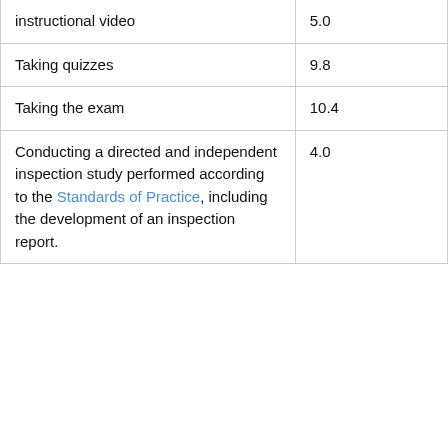| Activity | Hours |
| --- | --- |
| instructional video | 5.0 |
| Taking quizzes | 9.8 |
| Taking the exam | 10.4 |
| Conducting a directed and independent inspection study performed according to the Standards of Practice, including the development of an inspection report. | 4.0 |